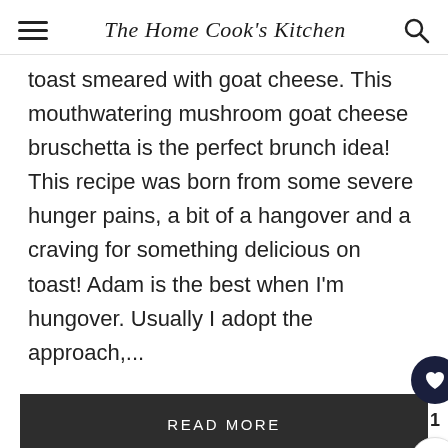The Home Cook's Kitchen
toast smeared with goat cheese. This mouthwatering mushroom goat cheese bruschetta is the perfect brunch idea!  This recipe was born from some severe hunger pains, a bit of a hangover and a craving for something delicious on toast! Adam is the best when I'm hungover. Usually I adopt the approach,...
READ MORE